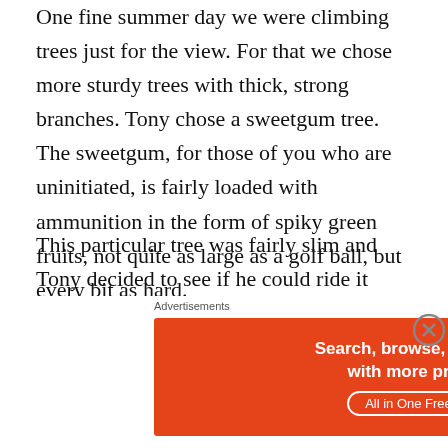One fine summer day we were climbing trees just for the view. For that we chose more sturdy trees with thick, strong branches. Tony chose a sweetgum tree. The sweetgum, for those of you who are uninitiated, is fairly loaded with ammunition in the form of spiky green fruits, not quite as large as a golf ball, but every bit as hard.
This particular tree was fairly slim and Tony decided to see if he could ride it down. Back and forth he swayed, getting the best ride ever thanks to its great height. I thought I heard the tree groan and make a tiny cracking sound. Before I could open my mouth to sound the warning, the tree-top snapped and down went Tony, still riding the tree. Suddenly his left arm was caught in the crotch of a branch
[Figure (infographic): DuckDuckGo advertisement banner: orange left section with text 'Search, browse, and email with more privacy. All in One Free App' and dark right section with DuckDuckGo duck logo and brand name]